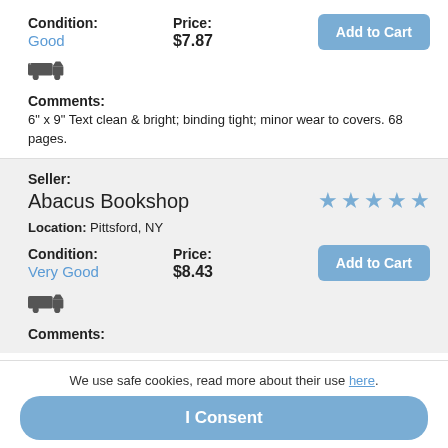Condition: Good
Price: $7.87
[Figure (other): Add to Cart button (blue)]
[Figure (other): Delivery truck icon]
Comments: 6" x 9" Text clean & bright; binding tight; minor wear to covers. 68 pages.
Seller: Abacus Bookshop
[Figure (other): 5 blue stars rating]
Location: Pittsford, NY
Condition: Very Good
Price: $8.43
[Figure (other): Add to Cart button (blue)]
[Figure (other): Delivery truck icon]
Comments:
We use safe cookies, read more about their use here.
I Consent